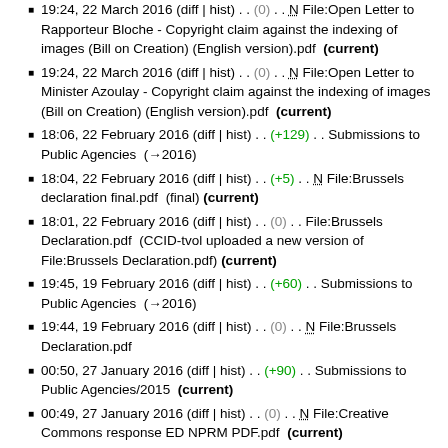19:24, 22 March 2016 (diff | hist) . . (0) . . N File:Open Letter to Rapporteur Bloche - Copyright claim against the indexing of images (Bill on Creation) (English version).pdf (current)
19:24, 22 March 2016 (diff | hist) . . (0) . . N File:Open Letter to Minister Azoulay - Copyright claim against the indexing of images (Bill on Creation) (English version).pdf (current)
18:06, 22 February 2016 (diff | hist) . . (+129) . . Submissions to Public Agencies (→2016)
18:04, 22 February 2016 (diff | hist) . . (+5) . . N File:Brussels declaration final.pdf (final) (current)
18:01, 22 February 2016 (diff | hist) . . (0) . . File:Brussels Declaration.pdf (CCID-tvol uploaded a new version of File:Brussels Declaration.pdf) (current)
19:45, 19 February 2016 (diff | hist) . . (+60) . . Submissions to Public Agencies (→2016)
19:44, 19 February 2016 (diff | hist) . . (0) . . N File:Brussels Declaration.pdf
00:50, 27 January 2016 (diff | hist) . . (+90) . . Submissions to Public Agencies/2015 (current)
00:49, 27 January 2016 (diff | hist) . . (0) . . N File:Creative Commons response ED NPRM PDF.pdf (current)
00:49, 27 January 2016 (diff | hist) . . (+396) . . Submissions to Public Agencies/2015
00:12, 14 January 2016 (diff | hist) . . (+26) . . Submissions to Public Agencies
00:11, 14 January 2016 (diff | hist) . . (-14,191) . . Submissions to